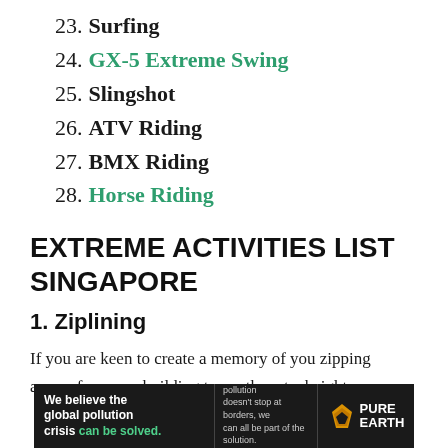23. Surfing
24. GX-5 Extreme Swing
25. Slingshot
26. ATV Riding
27. BMX Riding
28. Horse Riding
EXTREME ACTIVITIES LIST SINGAPORE
1. Ziplining
If you are keen to create a memory of you zipping across from one building to another at a height,
[Figure (infographic): Advertisement banner for Pure Earth: 'We believe the global pollution crisis can be solved.' with tagline about pollution not stopping at borders and call to action JOIN US.]